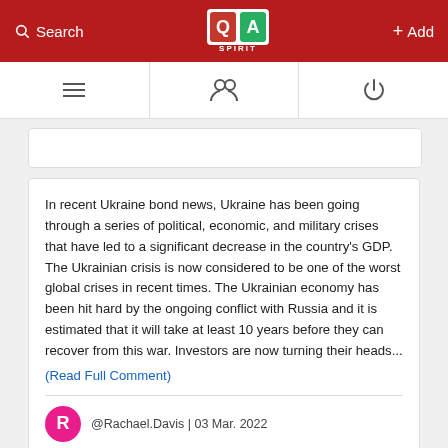Search | QA Spirit | + Add
[Figure (logo): QA Spirit logo with red Q and green A on white background]
In recent Ukraine bond news, Ukraine has been going through a series of political, economic, and military crises that have led to a significant decrease in the country's GDP. The Ukrainian crisis is now considered to be one of the worst global crises in recent times. The Ukrainian economy has been hit hard by the ongoing conflict with Russia and it is estimated that it will take at least 10 years before they can recover from this war. Investors are now turning their heads...
(Read Full Comment)
@Rachael.Davis | 03 Mar. 2022